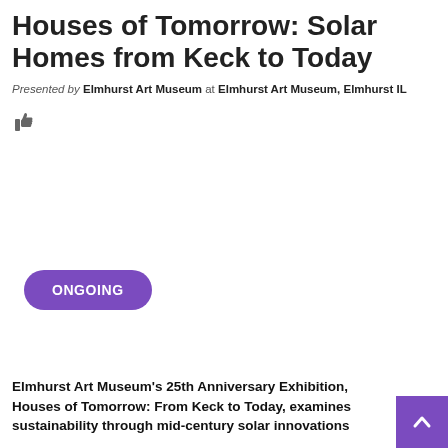Houses of Tomorrow: Solar Homes from Keck to Today
Presented by Elmhurst Art Museum at Elmhurst Art Museum, Elmhurst IL
👍
ONGOING
Elmhurst Art Museum's 25th Anniversary Exhibition, Houses of Tomorrow: From Keck to Today, examines sustainability through mid-century solar innovations